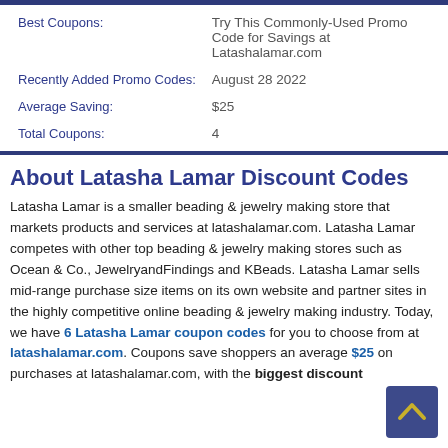| Label | Value |
| --- | --- |
| Best Coupons: | Try This Commonly-Used Promo Code for Savings at Latashalamar.com |
| Recently Added Promo Codes: | August 28 2022 |
| Average Saving: | $25 |
| Total Coupons: | 4 |
About Latasha Lamar Discount Codes
Latasha Lamar is a smaller beading & jewelry making store that markets products and services at latashalamar.com. Latasha Lamar competes with other top beading & jewelry making stores such as Ocean & Co., JewelryandFindings and KBeads. Latasha Lamar sells mid-range purchase size items on its own website and partner sites in the highly competitive online beading & jewelry making industry. Today, we have 6 Latasha Lamar coupon codes for you to choose from at latashalamar.com. Coupons save shoppers an average $25 on purchases at latashalamar.com, with the biggest discount